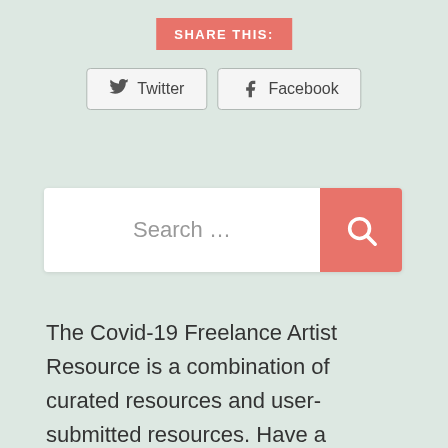SHARE THIS:
[Figure (screenshot): Social share buttons for Twitter and Facebook]
[Figure (screenshot): Search bar with salmon/red search button and magnifying glass icon]
The Covid-19 Freelance Artist Resource is a combination of curated resources and user-submitted resources. Have a resource or an